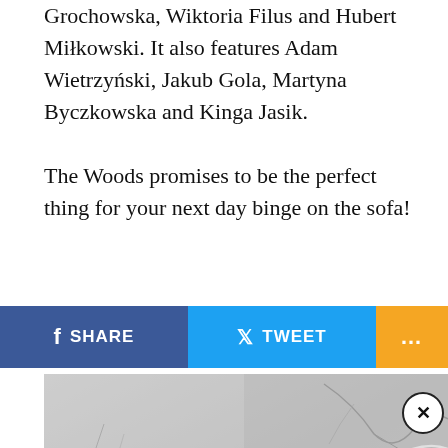Grochowska, Wiktoria Filus and Hubert Miłkowski. It also features Adam Wietrzyński, Jakub Gola, Martyna Byczkowska and Kinga Jasik.
The Woods promises to be the perfect thing for your next day binge on the sofa!
You May Like
Promoted Links by Taboola
[Figure (photo): Photo of a cracked and peeling ceiling/wall surface, grey textured material with damage revealing layers beneath.]
SHARE  TWEET  ...